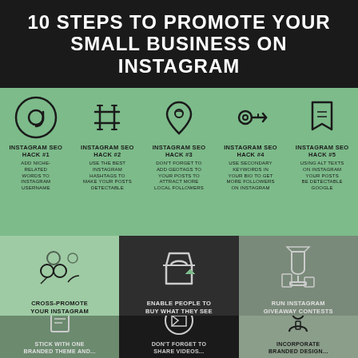10 STEPS TO PROMOTE YOUR SMALL BUSINESS ON INSTAGRAM
[Figure (infographic): Infographic showing 10 steps to promote a small business on Instagram. Top section has 5 Instagram SEO hacks with icons (@ symbol, hashtag, location pin, key, bookmark). Middle section shows 3 tips: cross-promote on other networks, enable Instagram shoppable posts, run Instagram giveaway contests. Bottom section partially visible shows 3 more tips with icons.]
INSTAGRAM SEO HACK #1 - ADD NICHE-RELATED WORDS TO INSTAGRAM USERNAME
INSTAGRAM SEO HACK #2 - USE THE BEST INSTAGRAM HASHTAGS TO MAKE YOUR POSTS DETECTABLE
INSTAGRAM SEO HACK #3 - DON'T FORGET TO ADD GEOTAGS TO YOUR POSTS TO ATTRACT MORE LOCAL FOLLOWERS
INSTAGRAM SEO HACK #4 - USE SECONDARY KEYWORDS IN YOUR BIO TO GET MORE FOLLOWERS ON INSTAGRAM
INSTAGRAM SEO HACK #5 - USING ALT TEXTS ON INSTAGRAM YOUR POSTS BE DETECTABLE ON GOOGLE
CROSS-PROMOTE YOUR INSTAGRAM ACCOUNT ON OTHER NETWORKS
ENABLE PEOPLE TO BUY WHAT THEY SEE USING INSTAGRAM SHOPPABLE POSTS
RUN INSTAGRAM GIVEAWAY CONTESTS AND GET MORE FOLLOWERS
STICK WITH ONE BRANDED THEME AND...
DON'T FORGET TO SHARE VIDEOS...
INCORPORATE BRANDED DESIGN...